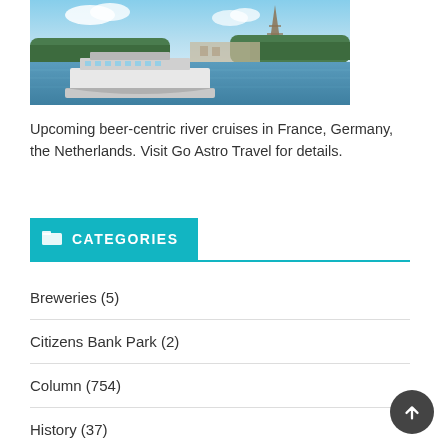[Figure (photo): A river cruise ship sailing on the Seine River in Paris with the Eiffel Tower visible in the background amid green trees and blue sky.]
Upcoming beer-centric river cruises in France, Germany, the Netherlands. Visit Go Astro Travel for details.
CATEGORIES
Breweries (5)
Citizens Bank Park (2)
Column (754)
History (37)
Latest (8)